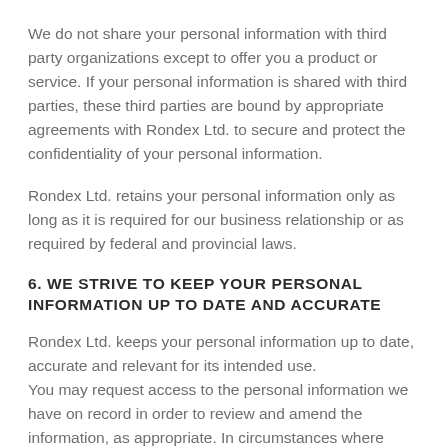We do not share your personal information with third party organizations except to offer you a product or service. If your personal information is shared with third parties, these third parties are bound by appropriate agreements with Rondex Ltd. to secure and protect the confidentiality of your personal information.
Rondex Ltd. retains your personal information only as long as it is required for our business relationship or as required by federal and provincial laws.
6. WE STRIVE TO KEEP YOUR PERSONAL INFORMATION UP TO DATE AND ACCURATE
Rondex Ltd. keeps your personal information up to date, accurate and relevant for its intended use. You may request access to the personal information we have on record in order to review and amend the information, as appropriate. In circumstances where...